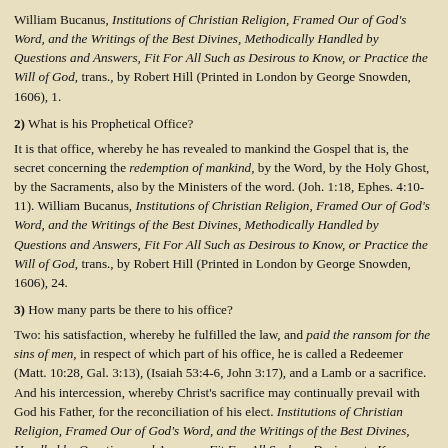William Bucanus, Institutions of Christian Religion, Framed Our of God's Word, and the Writings of the Best Divines, Methodically Handled by Questions and Answers, Fit For All Such as Desirous to Know, or Practice the Will of God, trans., by Robert Hill (Printed in London by George Snowden, 1606), 1.
2) What is his Prophetical Office?
It is that office, whereby he has revealed to mankind the Gospel that is, the secret concerning the redemption of mankind, by the Word, by the Holy Ghost, by the Sacraments, also by the Ministers of the word. (Joh. 1:18, Ephes. 4:10-11). William Bucanus, Institutions of Christian Religion, Framed Our of God's Word, and the Writings of the Best Divines, Methodically Handled by Questions and Answers, Fit For All Such as Desirous to Know, or Practice the Will of God, trans., by Robert Hill (Printed in London by George Snowden, 1606), 24.
3) How many parts be there to his office?
Two: his satisfaction, whereby he fulfilled the law, and paid the ransom for the sins of men, in respect of which part of his office, he is called a Redeemer (Matt. 10:28, Gal. 3:13), (Isaiah 53:4-6, John 3:17), and a Lamb or a sacrifice. And his intercession, whereby Christ's sacrifice may continually prevail with God his Father, for the reconciliation of his elect. Institutions of Christian Religion, Framed Our of God's Word, and the Writings of the Best Divines, Handled by Questions and Answers, Fit For All Such as Desirous to Know, or Practice the Will of God, Robert Hill (Printed in London by George Snowden, 1606), 24.
4) What is the Gospel?
It is a heavenly doctrine brought out of the secret bosom of God the Father by the Son, and comprehended in the books of the New Testament, bringing a good and joyful message, namely, that mankind is redeemed by the death of Christ, the only begotten Son of God, and salvation, and eternal life is prepared for all men, if so be they repent and believe.